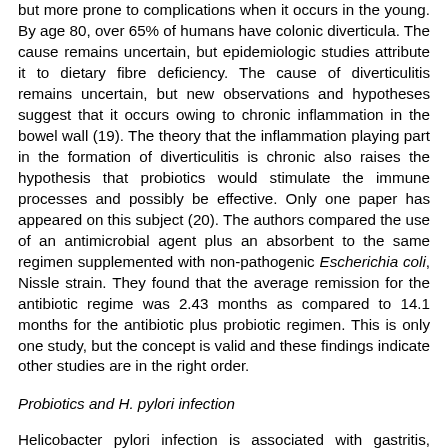but more prone to complications when it occurs in the young. By age 80, over 65% of humans have colonic diverticula. The cause remains uncertain, but epidemiologic studies attribute it to dietary fibre deficiency. The cause of diverticulitis remains uncertain, but new observations and hypotheses suggest that it occurs owing to chronic inflammation in the bowel wall (19). The theory that the inflammation playing part in the formation of diverticulitis is chronic also raises the hypothesis that probiotics would stimulate the immune processes and possibly be effective. Only one paper has appeared on this subject (20). The authors compared the use of an antimicrobial agent plus an absorbent to the same regimen supplemented with non-pathogenic Escherichia coli, Nissle strain. They found that the average remission for the antibiotic regime was 2.43 months as compared to 14.1 months for the antibiotic plus probiotic regimen. This is only one study, but the concept is valid and these findings indicate other studies are in the right order.
Probiotics and H. pylori infection
Helicobacter pylori infection is associated with gastritis, gastroduodenal ulcers and gastric malignancies. The majority of H. pylori infected hosts become hypochlorhydric with the... Clinical studies and experimental data add...